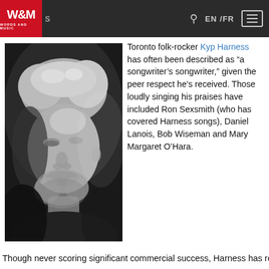W&M WORDS AND MUSIC | EN /FR
[Figure (photo): Black and white portrait photo of Kyp Harness, a man with medium-length light hair and a beard, looking down slightly, wearing a dark top.]
Toronto folk-rocker Kyp Harness has often been described as “a songwriter’s songwriter,” given the peer respect he’s received. Those loudly singing his praises have included Ron Sexsmith (who has covered Harness songs), Daniel Lanois, Bob Wiseman and Mary Margaret O’Hara.
Though never scoring significant commercial success, Harness has remained